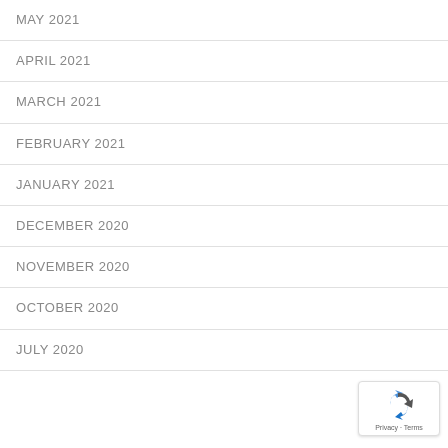MAY 2021
APRIL 2021
MARCH 2021
FEBRUARY 2021
JANUARY 2021
DECEMBER 2020
NOVEMBER 2020
OCTOBER 2020
JULY 2020
[Figure (logo): reCAPTCHA privacy badge with recycling-arrow logo and Privacy - Terms text]